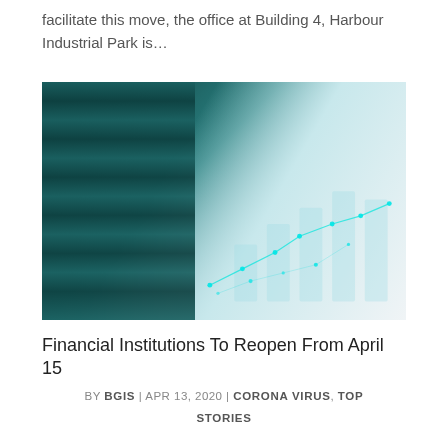facilitate this move, the office at Building 4, Harbour Industrial Park is…
[Figure (photo): Stock photo of stacked coins on the left with a blurred financial chart overlay on the right, teal/teal-blue color palette, suggesting financial growth and investment.]
Financial Institutions To Reopen From April 15
BY BGIS | APR 13, 2020 | CORONA VIRUS, TOP STORIES